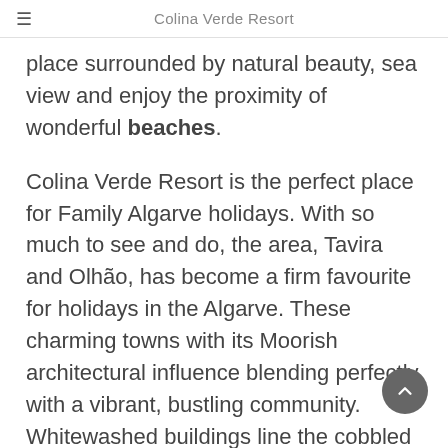Colina Verde Resort
place surrounded by natural beauty, sea view and enjoy the proximity of wonderful beaches.
Colina Verde Resort is the perfect place for Family Algarve holidays. With so much to see and do, the area, Tavira and Olhão, has become a firm favourite for holidays in the Algarve. These charming towns with its Moorish architectural influence blending perfectly with a vibrant, bustling community. Whitewashed buildings line the cobbled streets and life and the legendary Tavira and Olhão welcome is everywhere.